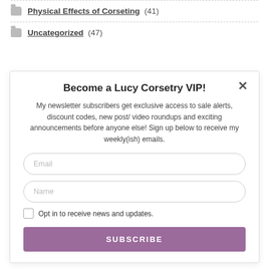Physical Effects of Corseting (41)
Uncategorized (47)
Become a Lucy Corsetry VIP!
My newsletter subscribers get exclusive access to sale alerts, discount codes, new post/ video roundups and exciting announcements before anyone else! Sign up below to receive my weekly(ish) emails.
Email
Name
Opt in to receive news and updates.
SUBSCRIBE